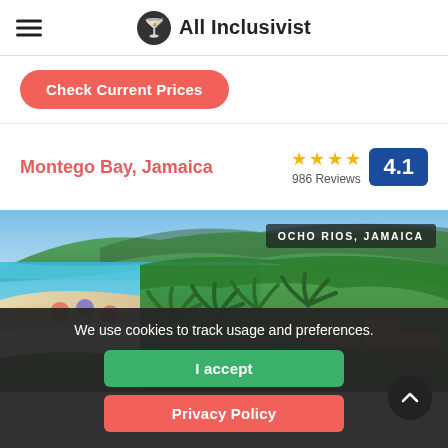All Inclusivist
Check Current Prices
Montego Bay, Jamaica — 986 Reviews — 4.1
[Figure (photo): Aerial view of Ocho Rios, Jamaica coastline with turquoise water, white sand beach, palm trees, resort pools and buildings against green hills. Label: OCHO RIOS, JAMAICA]
We use cookies to track usage and preferences.
I accept
Privacy Policy